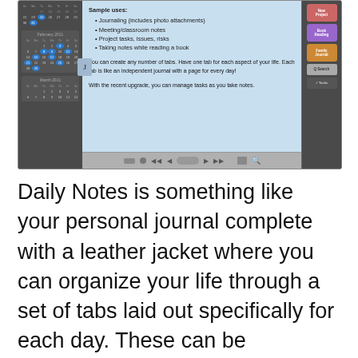[Figure (screenshot): Screenshot of a Daily Notes app interface showing a calendar sidebar on the left with February and March 2011 calendars, a main blue content area showing sample uses list (Journaling with photo attachments, Meeting/classroom notes, Project tasks issues risks, Taking notes while reading a book) and paragraphs about creating tabs and managing tasks, tab buttons on the right sidebar (New Project, Book Reading, Family Journal, Search, Tasks), and a media toolbar at the bottom.]
Daily Notes is something like your personal journal complete with a leather jacket where you can organize your life through a set of tabs laid out specifically for each day. These can be drenched in any of the 30 new color themes and 80+ fonts of your choice. There are also